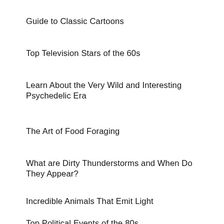Guide to Classic Cartoons
Top Television Stars of the 60s
Learn About the Very Wild and Interesting Psychedelic Era
The Art of Food Foraging
What are Dirty Thunderstorms and When Do They Appear?
Incredible Animals That Emit Light
Top Political Events of the 80s